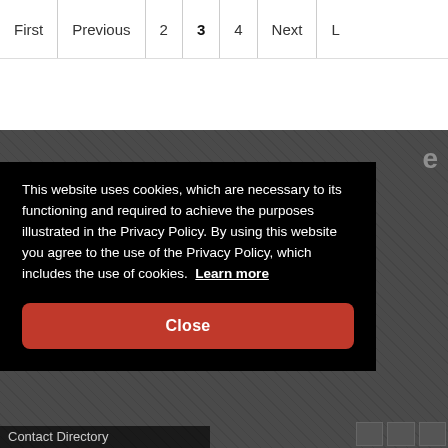First | Previous | 2 | 3 | 4 | Next | L
[Figure (photo): Dark textured background image, partially visible behind a cookie consent modal. A partial letter 'e' is visible in the upper right of the dark area.]
This website uses cookies, which are necessary to its functioning and required to achieve the purposes illustrated in the Privacy Policy. By using this website you agree to the use of the Privacy Policy, which includes the use of cookies.  Learn more
Close
Contact Directory